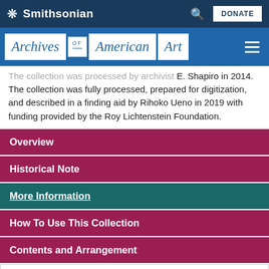Smithsonian
Archives of American Art
The collection was processed by archivist Allyson E. Shapiro in 2014. The collection was fully processed, prepared for digitization, and described in a finding aid by Rihoko Ueno in 2019 with funding provided by the Roy Lichtenstein Foundation.
Overview
Historical Note
More Information
How To Use This Collection
Contents and Arrangement
Administrative Records, 1969-2010